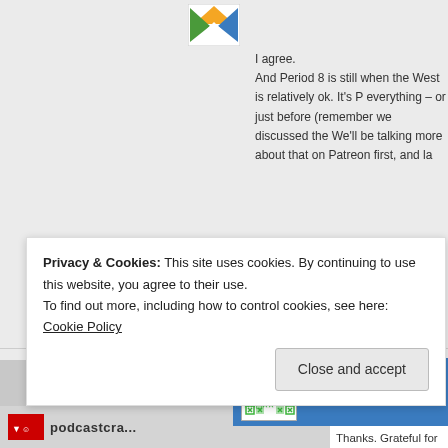[Figure (illustration): Small avatar/logo with orange, green, and blue diagonal stripes in a square]
I agree.
And Period 8 is still when the West is relatively ok. It's P everything – or just before (remember we discussed the We'll be talking more about that on Patreon first, and la
★ Like
[Figure (illustration): Green pixel/cross pattern avatar for user Casey]
Casey | April 8, 2019 at 11:09 am
Thanks. Grateful for your POV, as always. Cusp will be a doozy, as they say. I wonder, do they kn rear-guard action, or are they unaware? And who
Privacy & Cookies: This site uses cookies. By continuing to use this website, you agree to their use.
To find out more, including how to control cookies, see here: Cookie Policy
Close and accept
[Figure (logo): Small red logo icon at bottom left]
podcastcra...